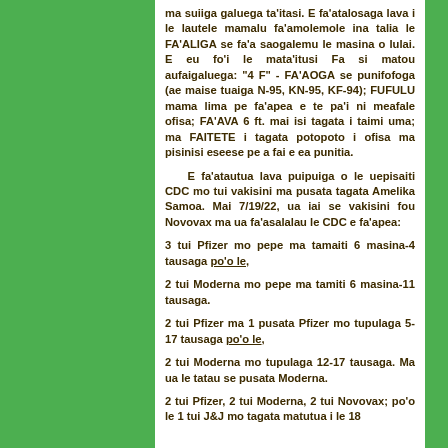ma suiiga galuega ta'itasi. E fa'atalosaga lava i le lautele mamalu fa'amolemole ina talia le FA'ALIGA se fa'a saogalemu le masina o lulai. E eu fo'i le mata'itusi Fa si matou aufaigaluega: "4 F" - FA'AOGA se punifofoga (ae maise tuaiga N-95, KN-95, KF-94); FUFULU mama lima pe fa'apea e te pa'i ni meafale ofisa; FA'AVA 6 ft. mai isi tagata i taimi uma; ma FAITETE i tagata potopoto i ofisa ma pisinisi eseese pe a fai e ea punitia.
E fa'atautua lava puipuiga o le uepisaiti CDC mo tui vakisini ma pusata tagata Amelika Samoa. Mai 7/19/22, ua iai se vakisini fou Novovax ma ua fa'asalalau le CDC e fa'apea:
3 tui Pfizer mo pepe ma tamaiti 6 masina-4 tausaga po'o le,
2 tui Moderna mo pepe ma tamiti 6 masina-11 tausaga.
2 tui Pfizer ma 1 pusata Pfizer mo tupulaga 5-17 tausaga po'o le,
2 tui Moderna mo tupulaga 12-17 tausaga. Ma ua le tatau se pusata Moderna.
2 tui Pfizer, 2 tui Moderna, 2 tui Novovax; po'o le 1 tui J&J mo tagata matutua i le 18